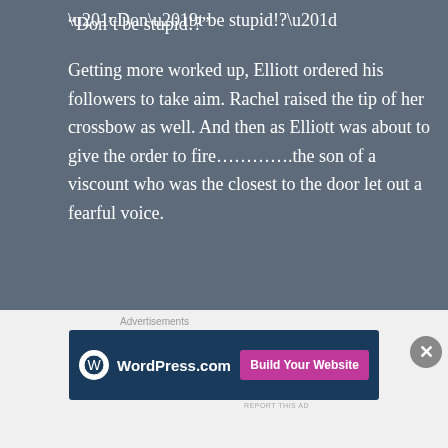“Don’t be stupid!?”
Getting more worked up, Elliott ordered his followers to take aim. Rachel raised the tip of her crossbow as well. And then as Elliott was about to give the order to fire………….the son of a viscount who was the closest to the door let out a fearful voice.
[Figure (other): Jetpack advertisement banner with green background, Jetpack logo and 'Secure Your Site' button]
“U, um………..”
“What!?”
[Figure (other): WordPress.com advertisement banner with dark blue background and 'Build Your Website' pink button]